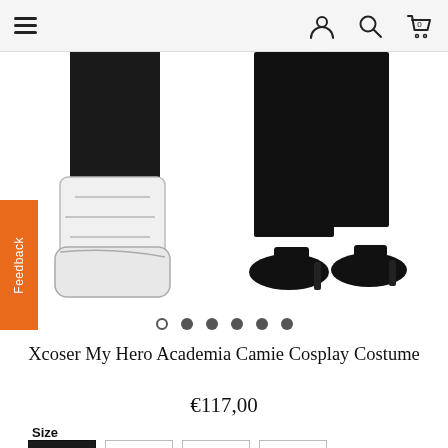Navigation header with hamburger menu, user icon, search icon, and cart (0)
[Figure (photo): Product photo showing lower halves of two figures wearing black leggings/pants. Left figure wears white futuristic/anime-style boots. Right figure wears black high-heeled shoes.]
[Figure (other): Carousel navigation dots: 6 dots, first one is open/hollow (selected), remaining 5 are filled]
Xcoser My Hero Academia Camie Cosplay Costume
€117,00
Size
S  M  L  XL